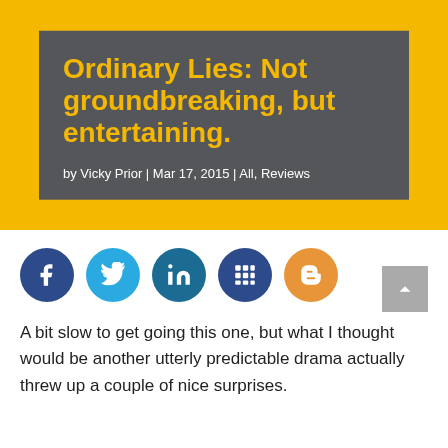Ordinary Lies: Not groundbreaking, but entertaining.
by Vicky Prior | Mar 17, 2015 | All, Reviews
[Figure (infographic): Row of five social media share buttons: Facebook (dark blue), Twitter (light blue), LinkedIn (dark teal), a grid/apps icon (dark blue), and Blogger (orange). A grey scroll-to-top arrow button appears on the far right.]
A bit slow to get going this one, but what I thought would be another utterly predictable drama actually threw up a couple of nice surprises.